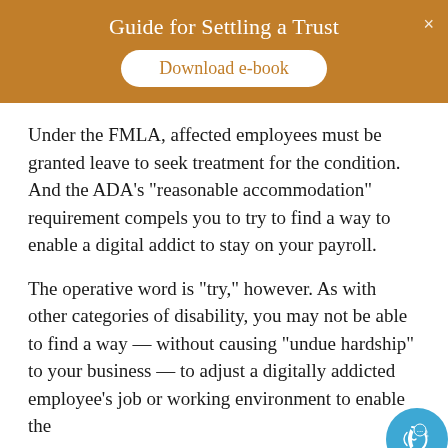Guide for Settling a Trust
Download e-book
Under the FMLA, affected employees must be granted leave to seek treatment for the condition. And the ADA's “reasonable accommodation” requirement compels you to try to find a way to enable a digital addict to stay on your payroll.
The operative word is “try,” however. As with other categories of disability, you may not be able to find a way — without causing “undue hardship” to your business — to adjust a digitally addicted employee’s job or working environment to enable the